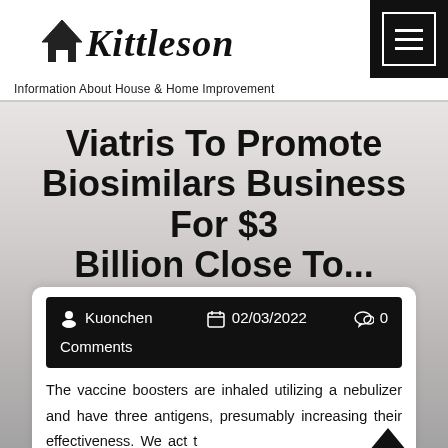Kittleson — Information About House & Home Improvement
Viatris To Promote Biosimilars Business For $3 Billion Close To...
Kuonchen  02/03/2022  0 Comments
The vaccine boosters are inhaled utilizing a nebulizer and have three antigens, presumably increasing their effectiveness. We act t...